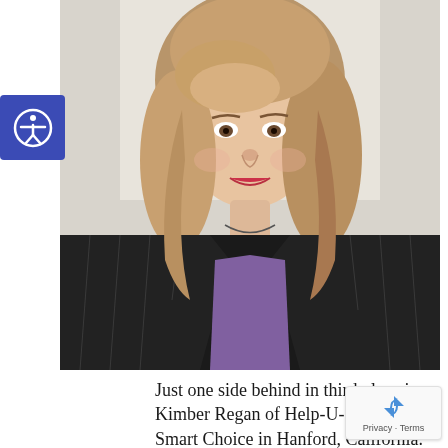[Figure (photo): Professional headshot of a woman with shoulder-length blonde/light brown wavy hair, wearing a dark pinstripe blazer over a purple top, smiling, against a light background.]
Just one side behind in third place is Kimber Regan of Help-U-Sell The Smart Choice in Hanford, California. Kimber's